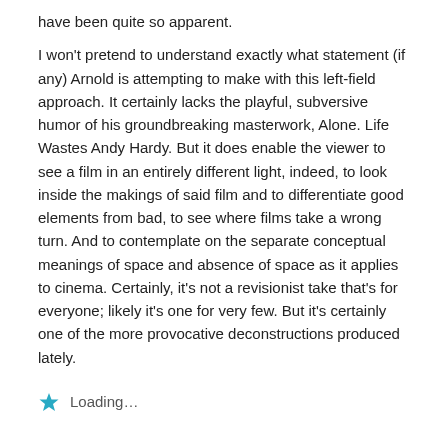have been quite so apparent.
I won't pretend to understand exactly what statement (if any) Arnold is attempting to make with this left-field approach. It certainly lacks the playful, subversive humor of his groundbreaking masterwork, Alone. Life Wastes Andy Hardy. But it does enable the viewer to see a film in an entirely different light, indeed, to look inside the makings of said film and to differentiate good elements from bad, to see where films take a wrong turn. And to contemplate on the separate conceptual meanings of space and absence of space as it applies to cinema. Certainly, it's not a revisionist take that's for everyone; likely it's one for very few. But it's certainly one of the more provocative deconstructions produced lately.
Loading…